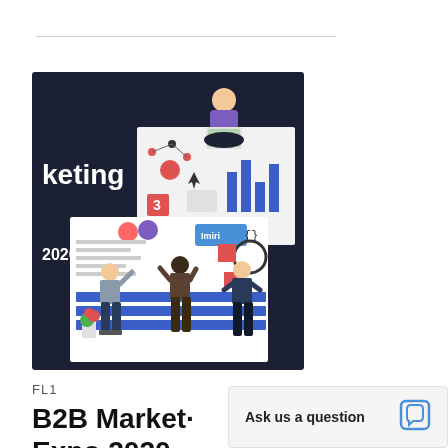[Figure (illustration): B2B Marketing Expo 2020 promotional illustration showing a dark navy background with the word 'keting' and '2020' visible, with figures of people standing in front of digital dashboard panels, and a person sitting cross-legged with a laptop above]
FL1
B2B Market· Expo 2020 –
Ask us a question